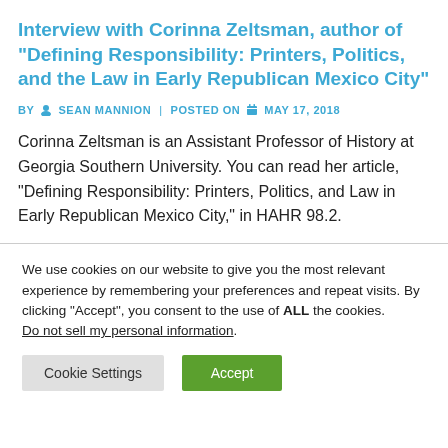Interview with Corinna Zeltsman, author of "Defining Responsibility: Printers, Politics, and the Law in Early Republican Mexico City"
BY SEAN MANNION | POSTED ON MAY 17, 2018
Corinna Zeltsman is an Assistant Professor of History at Georgia Southern University. You can read her article, "Defining Responsibility: Printers, Politics, and Law in Early Republican Mexico City," in HAHR 98.2.
We use cookies on our website to give you the most relevant experience by remembering your preferences and repeat visits. By clicking "Accept", you consent to the use of ALL the cookies.
Do not sell my personal information.